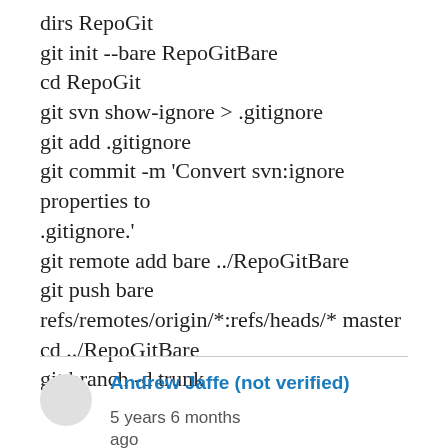dirs RepoGit
git init --bare RepoGitBare
cd RepoGit
git svn show-ignore > .gitignore
git add .gitignore
git commit -m 'Convert svn:ignore properties to .gitignore.'
git remote add bare ../RepoGitBare
git push bare refs/remotes/origin/*:refs/heads/* master
cd ../RepoGitBare
git branch -d trunk
Andrew Jaffe (not verified)    5 years 6 months ago